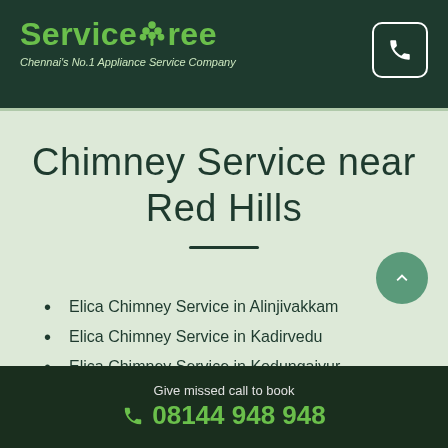ServiceTree — Chennai's No.1 Appliance Service Company
Chimney Service near Red Hills
Elica Chimney Service in Alinjivakkam
Elica Chimney Service in Kadirvedu
Elica Chimney Service in Kodungaiyur
Give missed call to book 08144 948 948